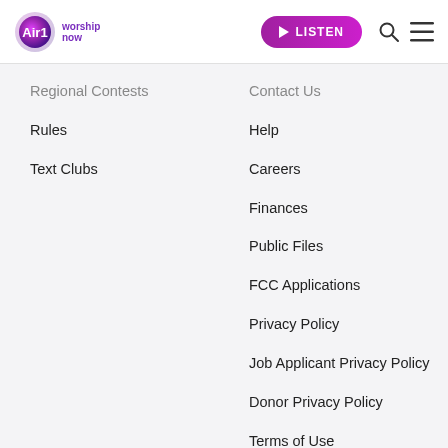[Figure (logo): Air1 worship now logo with circular gradient purple/pink icon]
LISTEN | search icon | hamburger menu
Regional Contests
Contact Us
Rules
Help
Text Clubs
Careers
Finances
Public Files
FCC Applications
Privacy Policy
Job Applicant Privacy Policy
Donor Privacy Policy
Terms of Use
Exercise Your Rights Section